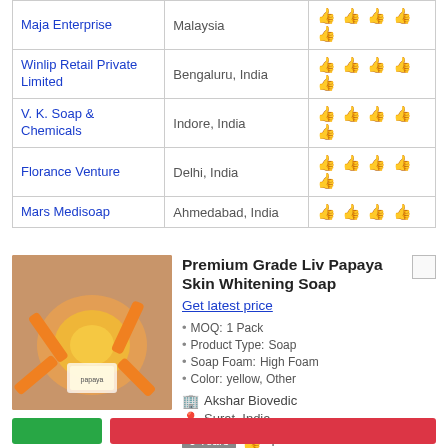| Supplier | Location | Rating |
| --- | --- | --- |
| Maja Enterprise | Malaysia | 5 thumbs |
| Winlip Retail Private Limited | Bengaluru, India | 5 thumbs |
| V. K. Soap & Chemicals | Indore, India | 5 thumbs |
| Florance Venture | Delhi, India | 5 thumbs |
| Mars Medisoap | Ahmedabad, India | 4 thumbs |
[Figure (photo): Orange papaya soap bars and packaging on a surface]
Premium Grade Liv Papaya Skin Whitening Soap
Get latest price
MOQ: 1 Pack
Product Type:Soap
Soap Foam:High Foam
Color:yellow, Other
Akshar Biovedic
Surat, India
6 Years  👍 4